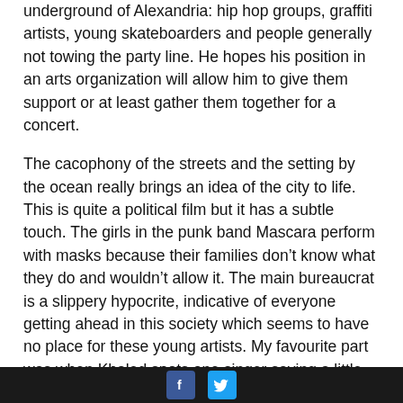underground of Alexandria: hip hop groups, graffiti artists, young skateboarders and people generally not towing the party line. He hopes his position in an arts organization will allow him to give them support or at least gather them together for a concert.
The cacophony of the streets and the setting by the ocean really brings an idea of the city to life. This is quite a political film but it has a subtle touch. The girls in the punk band Mascara perform with masks because their families don't know what they do and wouldn't allow it. The main bureaucrat is a slippery hypocrite, indicative of everyone getting ahead in this society which seems to have no place for these young artists. My favourite part was when Khaled spots one singer saving a little fish from the market and later setting it free into the sea.
[Facebook] [Twitter]